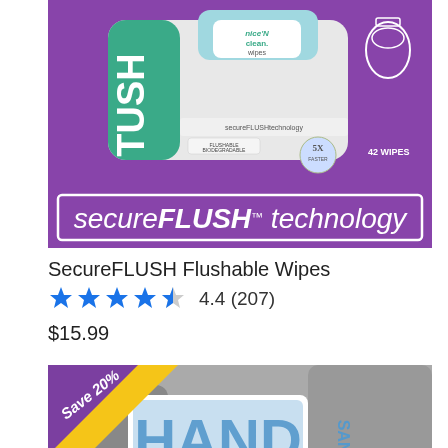[Figure (photo): Product photo of SecureFLUSH Flushable Wipes package on purple background with 'secureFLUSH TECHNOLOGY' text banner]
SecureFLUSH Flushable Wipes
4.4 (207)
$15.99
[Figure (photo): Product photo of hand sanitizer wipes packets labeled 'HAND SANITIZING WIPES' with nice'N clean branding, grey background, yellow Save 20% badge overlay]